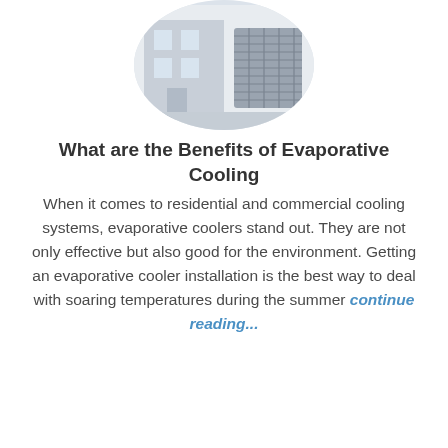[Figure (photo): Circular cropped photo showing a residential building exterior with an HVAC/evaporative cooling unit on the right side, light gray background]
What are the Benefits of Evaporative Cooling
When it comes to residential and commercial cooling systems, evaporative coolers stand out. They are not only effective but also good for the environment. Getting an evaporative cooler installation is the best way to deal with soaring temperatures during the summer continue reading...